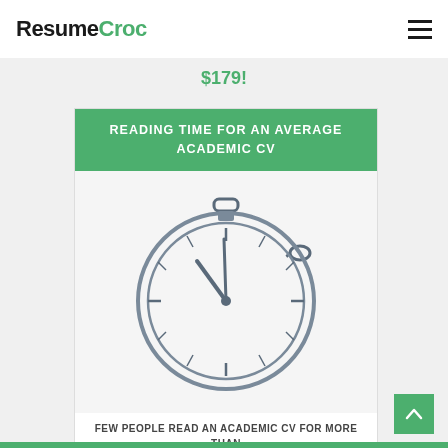ResumeCroc
$179!
READING TIME FOR AN AVERAGE ACADEMIC CV
[Figure (illustration): A stopwatch/pocket watch icon drawn in an outline style with gray strokes, showing clock hands pointing to approximately 11:57, with a crown/winding knob at top and a small crown on the side.]
FEW PEOPLE READ AN ACADEMIC CV FOR MORE THAN 90 SECONDS BEFORE MAKING A DECISION.